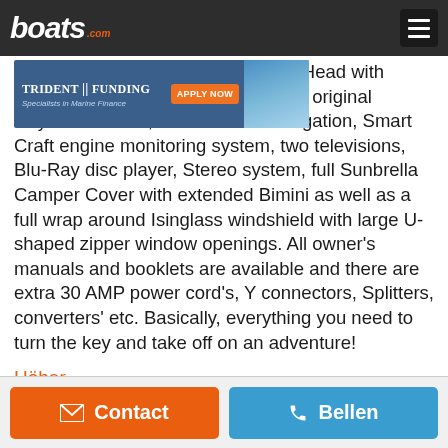boats.com
[Figure (screenshot): Trident Funding advertisement banner — Specialists in Marine Finance with Apply Now button and boat image]
Other Head with Shower, Isinglass, original Raytheon Radar, Garmin GPS navigation, Smart Craft engine monitoring system, two televisions, Blu-Ray disc player, Stereo system, full Sunbrella Camper Cover with extended Bimini as well as a full wrap around Isinglass windshield with large U-shaped zipper window openings. All owner's manuals and booklets are available and there are extra 30 AMP power cord's, Y connectors, Splitters, converters' etc. Basically, everything you need to turn the key and take off on an adventure!
Höher...
Contact | Bellen